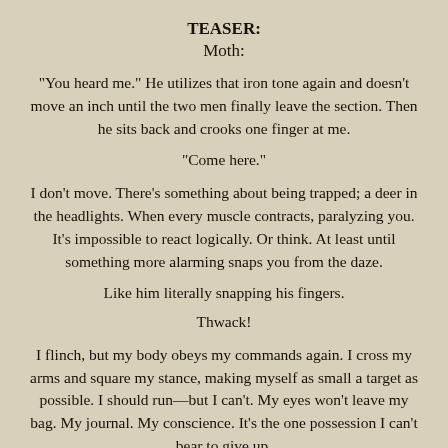TEASER:
Moth:
“You heard me.” He utilizes that iron tone again and doesn’t move an inch until the two men finally leave the section. Then he sits back and crooks one finger at me.
“Come here.”
I don’t move. There’s something about being trapped; a deer in the headlights. When every muscle contracts, paralyzing you. It’s impossible to react logically. Or think. At least until something more alarming snaps you from the daze.
Like him literally snapping his fingers.
Thwack!
I flinch, but my body obeys my commands again. I cross my arms and square my stance, making myself as small a target as possible. I should run—but I can’t. My eyes won’t leave my bag. My journal. My conscience. It’s the one possession I can’t bear to give up.